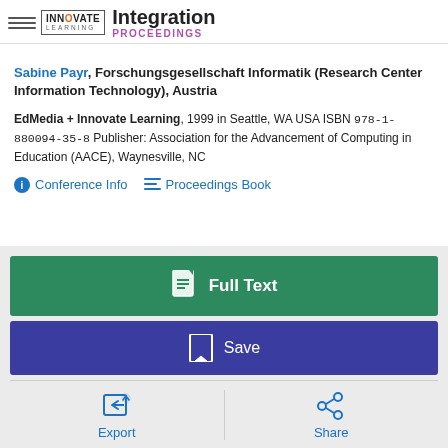INNOVATE LEARNING — Integration PROCEEDINGS
Sabine Payr, Forschungsgesellschaft Informatik (Research Center Information Technology), Austria
EdMedia + Innovate Learning, 1999 in Seattle, WA USA ISBN 978-1-880094-35-8 Publisher: Association for the Advancement of Computing in Education (AACE), Waynesville, NC
Conference Info   Proceedings Book
[Figure (screenshot): Full Text button (green), Save button (dark blue), Export and Share buttons at bottom on gray background]